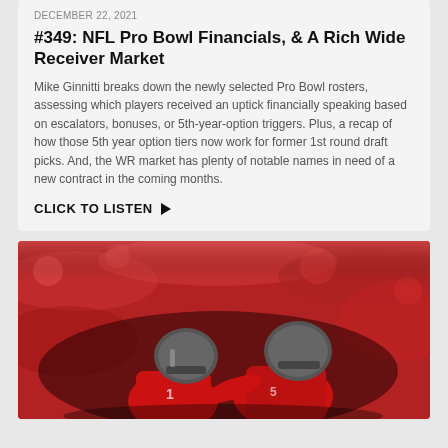DECEMBER 22, 2021
#349: NFL Pro Bowl Financials, & A Rich Wide Receiver Market
Mike Ginnitti breaks down the newly selected Pro Bowl rosters, assessing which players received an uptick financially speaking based on escalators, bonuses, or 5th-year-option triggers. Plus, a recap of how those 5th year option tiers now work for former 1st round draft picks. And, the WR market has plenty of notable names in need of a new contract in the coming months.
CLICK TO LISTEN ▶
[Figure (photo): Tampa Bay Buccaneers NFL players in red uniforms and helmets, one handing off the ball to another, with a blurred crowd in the background]